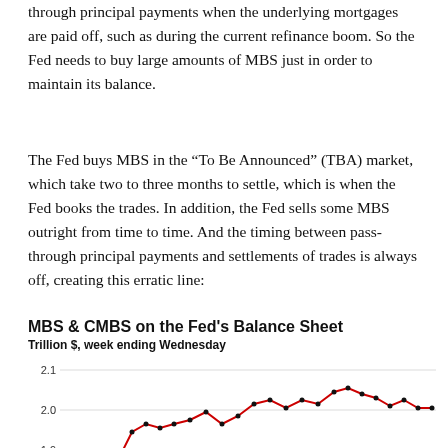through principal payments when the underlying mortgages are paid off, such as during the current refinance boom. So the Fed needs to buy large amounts of MBS just in order to maintain its balance.
The Fed buys MBS in the "To Be Announced" (TBA) market, which take two to three months to settle, which is when the Fed books the trades. In addition, the Fed sells some MBS outright from time to time. And the timing between pass-through principal payments and settlements of trades is always off, creating this erratic line:
[Figure (line-chart): Line chart showing MBS & CMBS on the Fed's balance sheet in trillion dollars. The line is red with black data points, showing erratic/jagged movement trending upward from around 1.85 to about 2.05 trillion, with values ranging between approximately 1.85 and 2.07.]